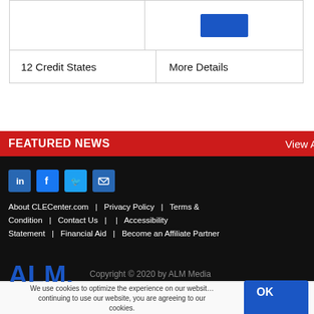|  |  |
| 12 Credit States | More Details |
FEATURED NEWS
View Al
[Figure (logo): Social media icons: LinkedIn, Facebook, Twitter, Email]
About CLECenter.com | Privacy Policy | Terms & Condition | Contact Us | | Accessibility Statement | Financial Aid | Become an Affiliate Partner
[Figure (logo): ALM logo in blue]
Copyright © 2020 by ALM Media
We use cookies to optimize the experience on our website. By continuing to use our website, you are agreeing to our use of cookies.